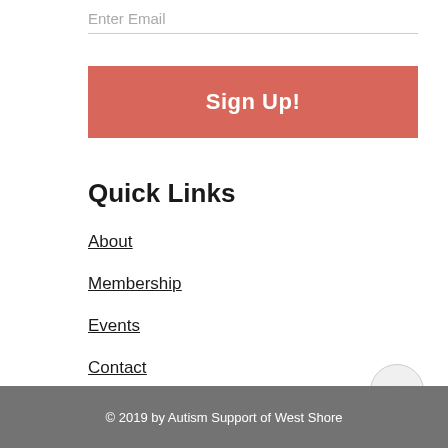Enter Email
Sign Up!
Quick Links
About
Membership
Events
Contact
© 2019 by Autism Support of West Shore